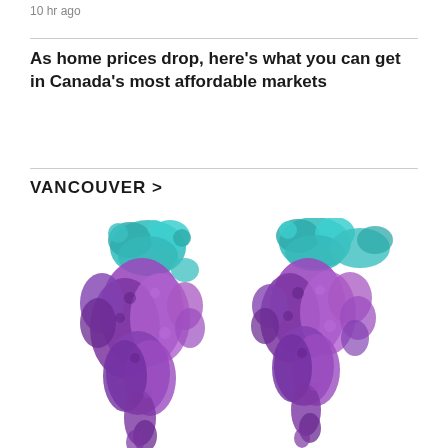10 hr ago
As home prices drop, here's what you can get in Canada's most affordable markets
VANCOUVER >
[Figure (photo): Two molecular structure models side by side, rendered in purple and teal colors, showing protein or virus structures with bumpy textured surfaces]